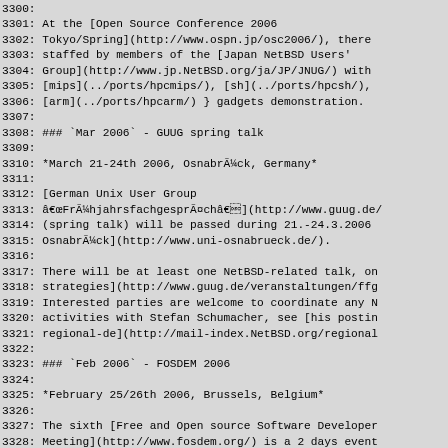3300:
3301: At the [Open Source Conference 2006
3302: Tokyo/Spring](http://www.ospn.jp/osc2006/), there
3303: staffed by members of the [Japan NetBSD Users'
3304: Group](http://www.jp.NetBSD.org/ja/JP/JNUG/) with
3305: [mips](../ports/hpcmips/), [sh](../ports/hpcsh/),
3306: [arm](../ports/hpcarm/) } gadgets demonstration.
3307:
3308: ### `Mar 2006` - GUUG spring talk
3309:
3310: *March 21-24th 2006, Osnabrück, Germany*
3311:
3312: [German Unix User Group
3313: "Frühjahrsfa chgespräch"](http://www.guug.de/
3314: (spring talk) will be passed during 21.-24.3.2006
3315: Osnabrück](http://www.uni-osnabrueck.de/).
3316:
3317: There will be at least one NetBSD-related talk, on
3318: strategies](http://www.guug.de/veranstaltungen/ffg
3319: Interested parties are welcome to coordinate any N
3320: activities with Stefan Schumacher, see [his postin
3321: regional-de](http://mail-index.NetBSD.org/regional
3322:
3323: ### `Feb 2006` - FOSDEM 2006
3324:
3325: *February 25/26th 2006, Brussels, Belgium*
3326:
3327: The sixth [Free and Open source Software Developer
3328: Meeting](http://www.fosdem.org/) is a 2 days event
3329: volunteers, to promote the widespread use of Free
3330: software. Taking place in the beautiful city of Br